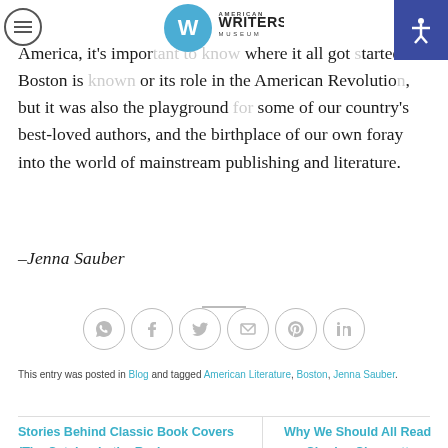American Writers Museum
America, it's impor[tant to know] where it all got [s]tarted. Boston is [known] or its role in the American Revolutio[n], but it was also the playground [for] some of our country's best-loved authors, and the birthplace of our own foray into the world of mainstream publishing and literature.
–Jenna Sauber
[Figure (infographic): Social sharing icons row: WhatsApp, Facebook, Twitter, Email, Pinterest, LinkedIn — each in a circular border]
This entry was posted in Blog and tagged American Literature, Boston, Jenna Sauber.
Stories Behind Classic Book Covers (The Catcher in the Rye)
Why We Should All Read Charles Chesnutt